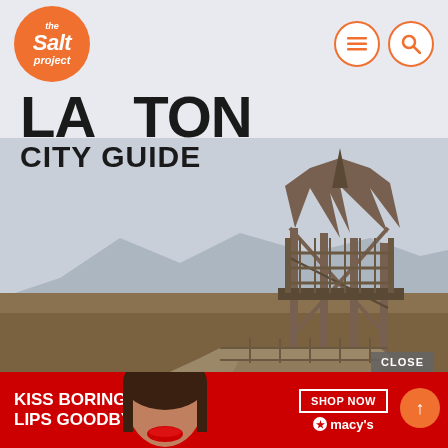[Figure (logo): The Salt Project logo — orange circle with white italic text reading 'the Salt project']
LAYTON CITY GUIDE
[Figure (photo): A wooden observation tower / boardwalk structure on a flat open marshland with mountains in the background and a grey sky. The boardwalk leads diagonally toward the tall wooden tower structure.]
CLOSE
[Figure (illustration): Advertisement banner: red background with white text 'KISS BORING LIPS GOODBYE', a woman's face with red lips, a 'SHOP NOW' button, and the Macy's star logo.]